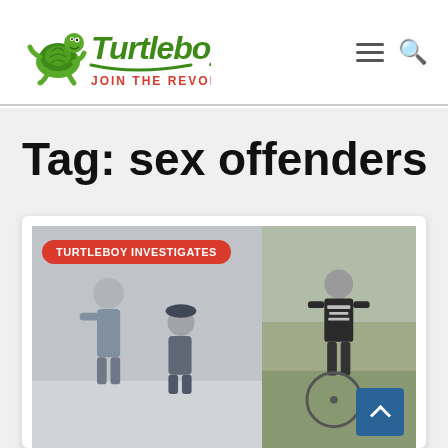[Figure (logo): Turtleboy logo with cartoon turtle and text 'JOIN THE REVOLUTION']
Tag: sex offenders
[Figure (photo): Card with photo collage: left side shows two people in snow/winter scene, right side shows person with bicycle on grass. Badge reads TURTLEBOY INVESTIGATES.]